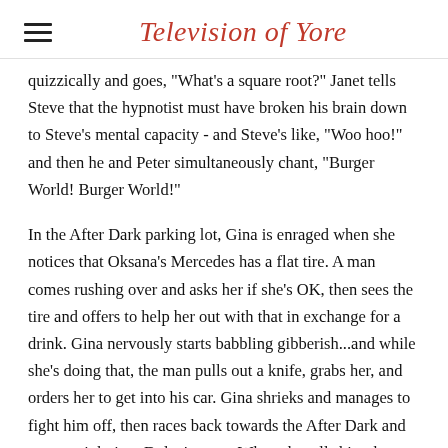Television of Yore
quizzically and goes, "What's a square root?" Janet tells Steve that the hypnotist must have broken his brain down to Steve's mental capacity - and Steve's like, "Woo hoo!" and then he and Peter simultaneously chant, "Burger World! Burger World!"
In the After Dark parking lot, Gina is enraged when she notices that Oksana's Mercedes has a flat tire. A man comes rushing over and asks her if she's OK, then sees the tire and offers to help her out with that in exchange for a drink. Gina nervously starts babbling gibberish...and while she's doing that, the man pulls out a knife, grabs her, and orders her to get into his car. Gina shrieks and manages to fight him off, then races back towards the After Dark and runs straight into Dylan's arms. When she tells him that a strange, knife wielding man just tried to abduct her, Dylan runs over toward her car but can't find a trace of him. Kelly, who exited the club with Dylan, looks skeptical about the alleged attacker, then comes right out and